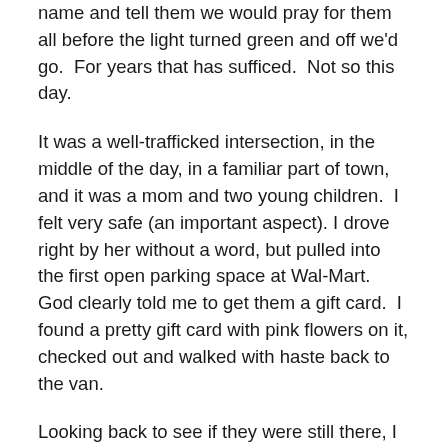name and tell them we would pray for them all before the light turned green and off we'd go.  For years that has sufficed.  Not so this day.
It was a well-trafficked intersection, in the middle of the day, in a familiar part of town, and it was a mom and two young children.  I felt very safe (an important aspect). I drove right by her without a word, but pulled into the first open parking space at Wal-Mart.  God clearly told me to get them a gift card.  I found a pretty gift card with pink flowers on it, checked out and walked with haste back to the van.
Looking back to see if they were still there, I circled the van to the closest parking space to them.  I sat in the van and prayed.  Of all the times I've tried to help people standing on the street corner, I've never gotten out of my